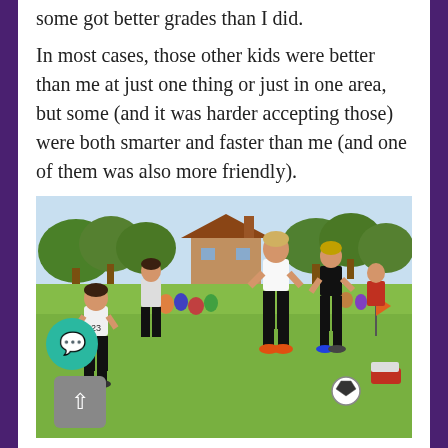some got better grades than I did.
In most cases, those other kids were better than me at just one thing or just in one area, but some (and it was harder accepting those) were both smarter and faster than me (and one of them was also more friendly).
[Figure (photo): Youth soccer game on a grass field with children in black and white uniforms playing, one player dribbling a soccer ball. Background shows trees, a building, spectators, and an orange corner flag.]